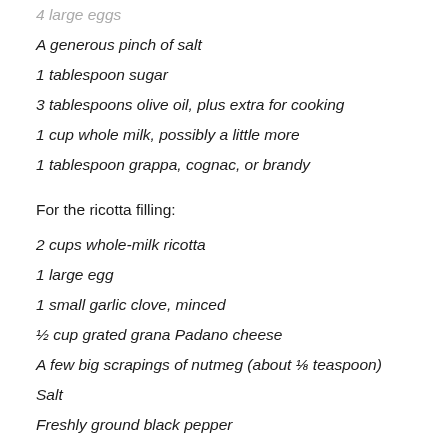4 large eggs
A generous pinch of salt
1 tablespoon sugar
3 tablespoons olive oil, plus extra for cooking
1 cup whole milk, possibly a little more
1 tablespoon grappa, cognac, or brandy
For the ricotta filling:
2 cups whole-milk ricotta
1 large egg
1 small garlic clove, minced
½ cup grated grana Padano cheese
A few big scrapings of nutmeg (about ⅛ teaspoon)
Salt
Freshly ground black pepper
About 8 thyme sprigs, leaves chopped, plus a handful of tender sprigs for garnish